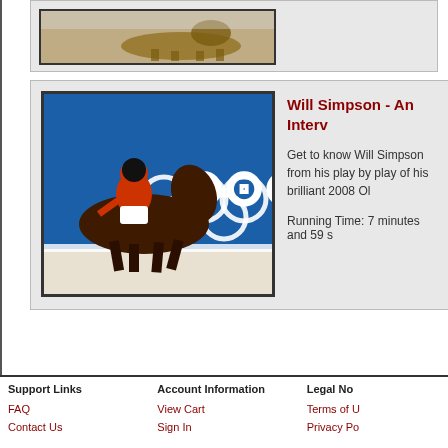[Figure (photo): Partially visible top card showing a horse and rider image in a gray card container]
[Figure (photo): Equestrian show jumping photo: rider in red jacket on a dark bay horse jumping, Olympic rings visible on blue banner in background — Will Simpson at 2008 Olympics]
Will Simpson - An Interv
Get to know Will Simpson from his play by play of his brilliant 2008 Ol
Running Time: 7 minutes and 59 s
Support Links
Account Information
Legal No
FAQ
Contact Us
View Cart
Sign In
Terms of U
Privacy Po